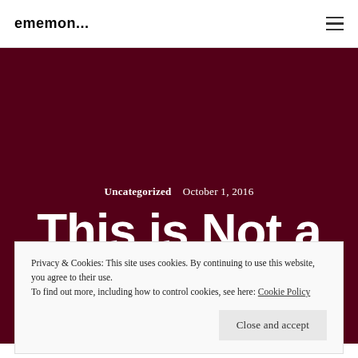ememon...
Uncategorized   October 1, 2016
This is Not a
Privacy & Cookies: This site uses cookies. By continuing to use this website, you agree to their use.
To find out more, including how to control cookies, see here: Cookie Policy